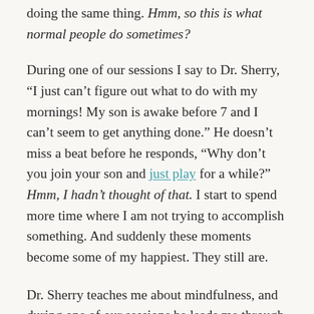doing the same thing. Hmm, so this is what normal people do sometimes?
During one of our sessions I say to Dr. Sherry, “I just can’t figure out what to do with my mornings! My son is awake before 7 and I can’t seem to get anything done.” He doesn’t miss a beat before he responds, “Why don’t you join your son and just play for a while?” Hmm, I hadn’t thought of that. I start to spend more time where I am not trying to accomplish something. And suddenly these moments become some of my happiest. They still are.
Dr. Sherry teaches me about mindfulness, and during one of our sessions he leads me through a guided meditation. I close my eyes while the afternoon sun slants through the window blinds and the next ten minutes are pure bliss. Afterwards I slowly peel my eyes open and he asks me